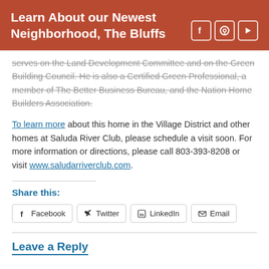Learn About our Newest Neighborhood, The Bluffs
serves on the Land Development Committee and on the Green Building Council. He is also a Certified Green Professional, a member of The Better Business Bureau, and the Nation Home Builders Association.
To learn more about this home in the Village District and other homes at Saluda River Club, please schedule a visit soon. For more information or directions, please call 803-393-8208 or visit www.saludarriverclub.com.
Share this:
Facebook
Twitter
LinkedIn
Email
Leave a Reply